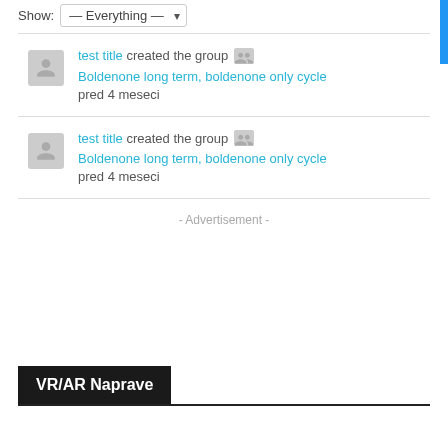Show: — Everything —
test title created the group Boldenone long term, boldenone only cycle pred 4 meseci
test title created the group Boldenone long term, boldenone only cycle pred 4 meseci
- Advertisement -
VR/AR Naprave